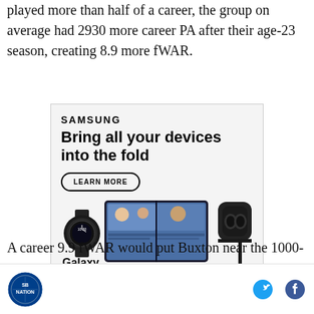played more than half of a career, the group on average had 2930 more career PA after their age-23 season, creating 8.9 more fWAR.
[Figure (illustration): Samsung advertisement for Galaxy Z Fold4. Shows Samsung logo, headline 'Bring all your devices into the fold', 'LEARN MORE' button, product images of Galaxy Watch, Galaxy Z Fold4 open laptop device with video call screen, earbuds, and stylus pen. Disclaimer text at bottom.]
A career 9.9 fWAR would put Buxton near the 1000-
SB Nation logo | Twitter icon | Facebook icon